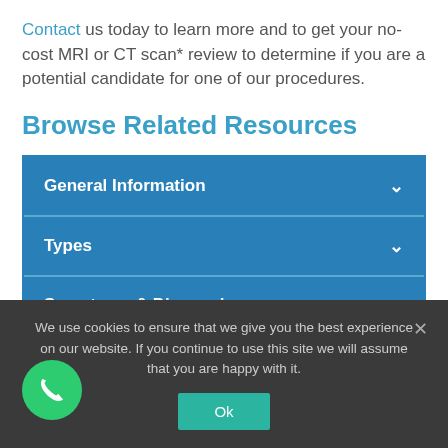Contact us today to learn more and to get your no-cost MRI or CT scan* review to determine if you are a potential candidate for one of our procedures.
Browse Related Resources
General Information
Types
Symptoms & Diagnosis
We use cookies to ensure that we give you the best experience on our website. If you continue to use this site we will assume that you are happy with it.